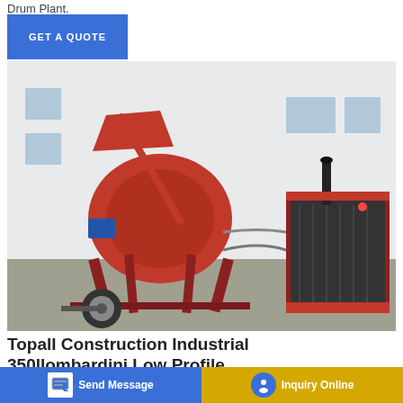Drum Plant.
[Figure (other): Blue 'GET A QUOTE' button with white text on a blue rectangular background]
[Figure (photo): Topall Construction Industrial 350llombardini Low Profile concrete mixer machine — a red drum mixer on a trailer with hydraulic power unit, photographed outdoors in front of a white building]
Topall Construction Industrial 350llombardini Low Profile
Topall Construction Industrial 350llombardini Low Profile
Topall Construction Industrial 350llombardini Low Profile